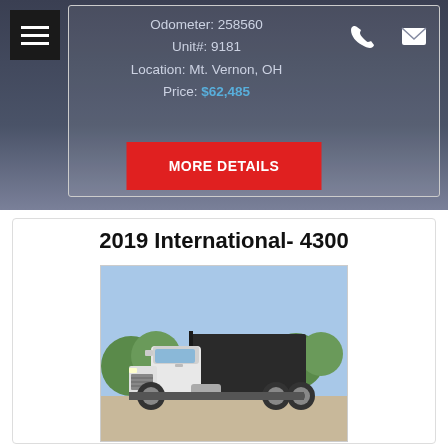Odometer: 258560
Unit#: 9181
Location: Mt. Vernon, OH
Price: $62,485
MORE DETAILS
2019 International- 4300
[Figure (photo): White International 4300 dump truck parked in a lot, front 3/4 view, with trees and blue sky in background]